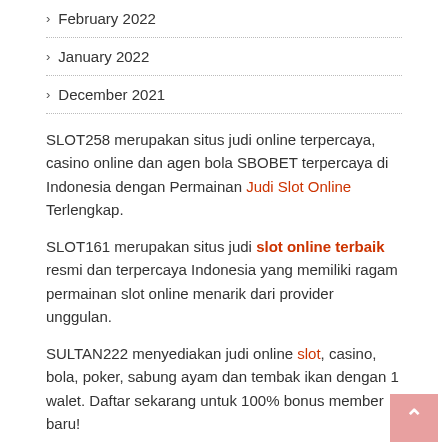> February 2022
> January 2022
> December 2021
SLOT258 merupakan situs judi online terpercaya, casino online dan agen bola SBOBET terpercaya di Indonesia dengan Permainan Judi Slot Online Terlengkap.
SLOT161 merupakan situs judi slot online terbaik resmi dan terpercaya Indonesia yang memiliki ragam permainan slot online menarik dari provider unggulan.
SULTAN222 menyediakan judi online slot, casino, bola, poker, sabung ayam dan tembak ikan dengan 1 walet. Daftar sekarang untuk 100% bonus member baru!
slot pragmatic play
situs judi online
judi slot
https://172.105.112.176/